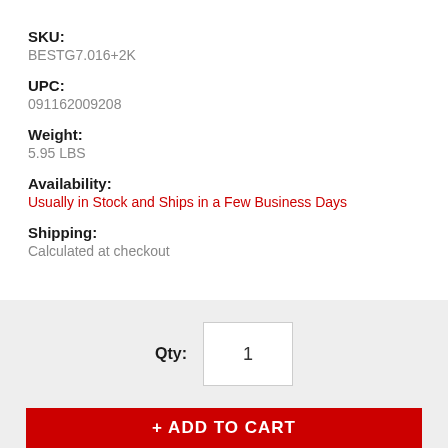SKU:
BESTG7.016+2K
UPC:
091162009208
Weight:
5.95 LBS
Availability:
Usually in Stock and Ships in a Few Business Days
Shipping:
Calculated at checkout
Qty: 1
ADD TO CART